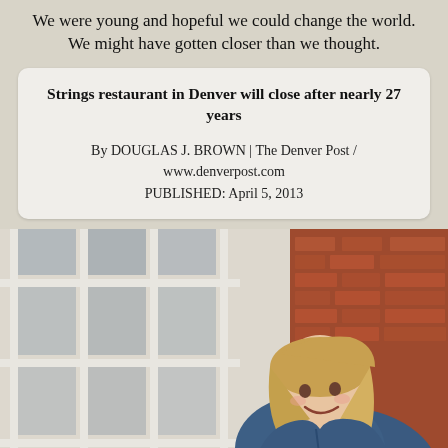We were young and hopeful we could change the world. We might have gotten closer than we thought.
Strings restaurant in Denver will close after nearly 27 years
By DOUGLAS J. BROWN | The Denver Post / www.denverpost.com PUBLISHED: April 5, 2013
[Figure (photo): A smiling blonde woman in a denim jacket leaning against a white-framed window with brick wall in the background]